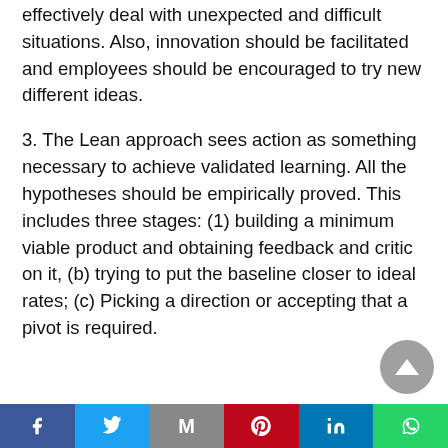effectively deal with unexpected and difficult situations. Also, innovation should be facilitated and employees should be encouraged to try new different ideas.
3. The Lean approach sees action as something necessary to achieve validated learning. All the hypotheses should be empirically proved. This includes three stages: (1) building a minimum viable product and obtaining feedback and critic on it, (b) trying to put the baseline closer to ideal rates; (c) Picking a direction or accepting that a pivot is required.
Facebook | Twitter | Gmail | Pinterest | LinkedIn | WhatsApp